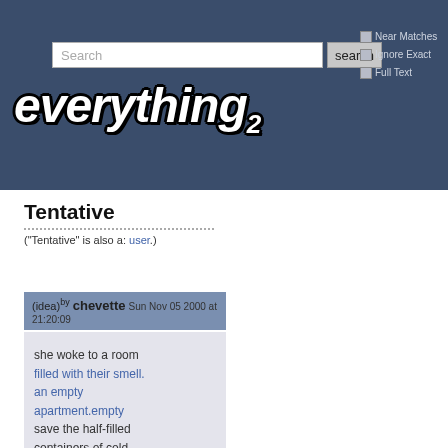everything2 website header with search bar, Near Matches, Ignore Exact, Full Text checkboxes, and everything2 logo
Tentative
("Tentative" is also a: user.)
(idea) by chevette Sun Nov 05 2000 at 21:20:09
she woke to a room filled with their smell. an empty apartment.empty save the half-filled containers of cold